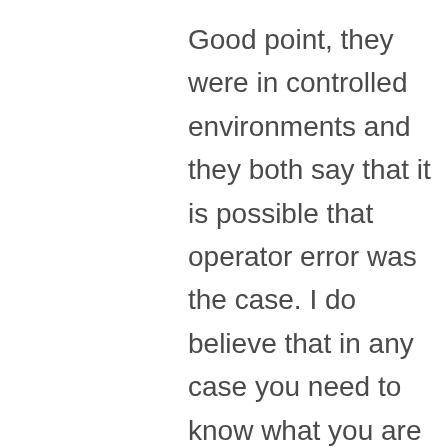Good point, they were in controlled environments and they both say that it is possible that operator error was the case. I do believe that in any case you need to know what you are doing and if using a Petzl ID